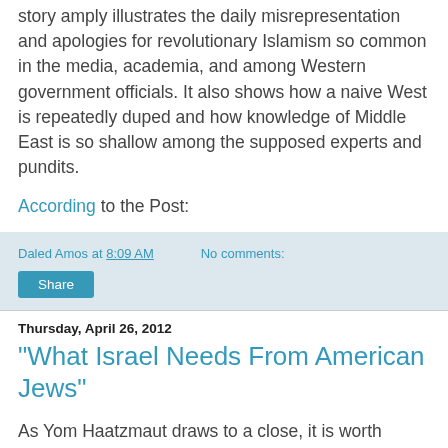story amply illustrates the daily misrepresentation and apologies for revolutionary Islamism so common in the media, academia, and among Western government officials. It also shows how a naive West is repeatedly duped and how knowledge of Middle East is so shallow among the supposed experts and pundits.
According to the Post:
Daled Amos at 8:09 AM   No comments:
Share
Thursday, April 26, 2012
"What Israel Needs From American Jews"
As Yom Haatzmaut draws to a close, it is worth pondering the question Jonathan Tobin asks: What Israel Needs From